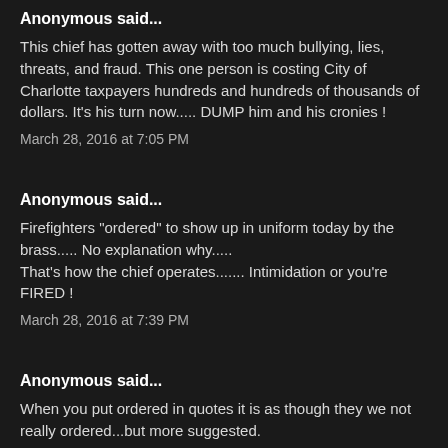Anonymous said...
This chief has gotten away with too much bullying, lies, threats, and fraud. This one person is costing City of Charlotte taxpayers hundreds and hundreds of thousands of dollars. It's his turn now..... DUMP him and his cronies !
March 28, 2016 at 7:05 PM
Anonymous said...
Firefighters "ordered" to show up in uniform today by the brass..... No explanation why.....
That's how the chief operates....... Intimidation or you're FIRED !
March 28, 2016 at 7:39 PM
Anonymous said...
When you put ordered in quotes it is as though they we not really ordered...but more suggested.